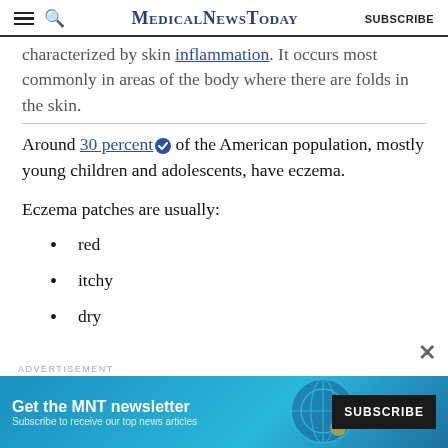MedicalNewsToday | SUBSCRIBE
characterized by skin inflammation. It occurs most commonly in areas of the body where there are folds in the skin.
Around 30 percent of the American population, mostly young children and adolescents, have eczema.
Eczema patches are usually:
red
itchy
dry
[Figure (screenshot): Advertisement banner: Get the MNT newsletter. Subscribe to receive our top news articles. SUBSCRIBE button.]